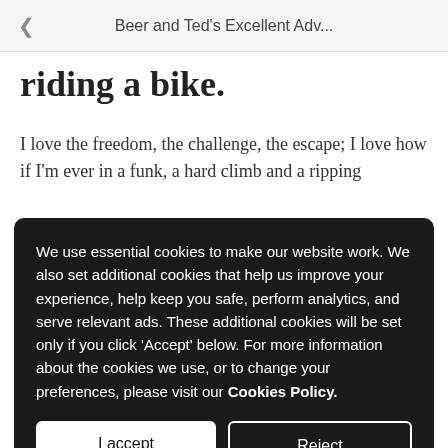< Beer and Ted's Excellent Adv...
riding a bike.
I love the freedom, the challenge, the escape; I love how if I'm ever in a funk, a hard climb and a ripping
We use essential cookies to make our website work. We also set additional cookies that help us improve your experience, help keep you safe, perform analytics, and serve relevant ads. These additional cookies will be set only if you click 'Accept' below. For more information about the cookies we use, or to change your preferences, please visit our Cookies Policy.
offseason is cherished, so I would often live the trip